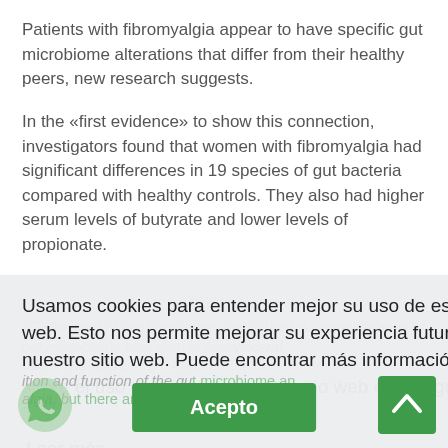Patients with fibromyalgia appear to have specific gut microbiome alterations that differ from their healthy peers, new research suggests.
In the «first evidence» to show this connection, investigators found that women with fibromyalgia had significant differences in 19 species of gut bacteria compared with healthy controls. They also had higher serum levels of butyrate and lower levels of propionate.
«To the best of our knowledge, this is the first demonstration of gut microbiome alteration in non-visceral pain,» the researchers note.
«Basically, we showed a correlation between the composition and function of the gut microbiome and fibromyalgia, but there are a few questions that still remain,» lead author Amir Minerbi, MD, PhD, Alan Edwards Pain Management Unit, McGill University Health Center
Usamos cookies para entender mejor su uso de este sitio web. Esto nos permite mejorar su experiencia futura en nuestro sitio web. Puede encontrar más información sobre el uso de cookies de este sitio web en el siguiente link.
Leer más
Acepto